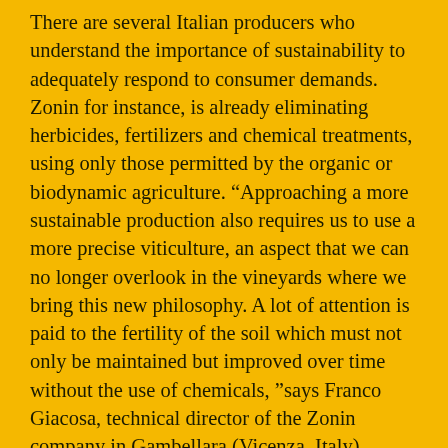There are several Italian producers who understand the importance of sustainability to adequately respond to consumer demands. Zonin for instance, is already eliminating herbicides, fertilizers and chemical treatments, using only those permitted by the organic or biodynamic agriculture. “Approaching a more sustainable production also requires us to use a more precise viticulture, an aspect that we can no longer overlook in the vineyards where we bring this new philosophy. A lot of attention is paid to the fertility of the soil which must not only be maintained but improved over time without the use of chemicals, ”says Franco Giacosa, technical director of the Zonin company in Gambellara (Vicenza, Italy). It is not a suprise to find the Zonin name amont the list of the 73 Italian companies participating to the Bayer CropScience Magis project  for social and economic sustainability in the wine industry: from Caviro to Planeta, Barone Ricasoli and Castello Banfi, to name some of the companies appearing in the Magis list. The aim of the